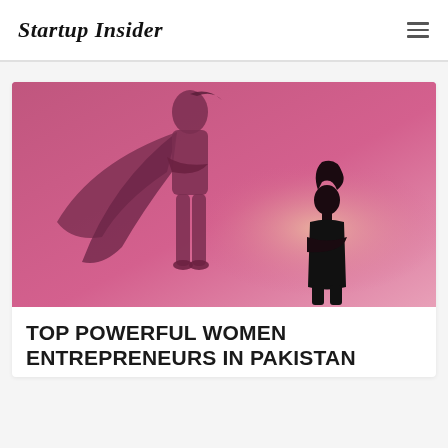Startup Insider
[Figure (illustration): Illustration of a woman standing with arms crossed casting a superhero shadow with a cape on a pink/magenta gradient background, symbolizing powerful women entrepreneurs.]
TOP POWERFUL WOMEN ENTREPRENEURS IN PAKISTAN